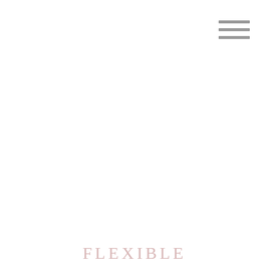[Figure (other): Hamburger menu icon: three horizontal grey bars stacked vertically, positioned in the top-right corner]
FLEXIBLE